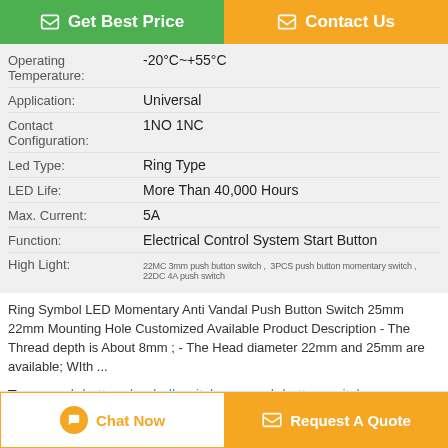| Attribute | Value |
| --- | --- |
| Operating Temperature: | -20°C~+55°C |
| Application: | Universal |
| Contact Configuration: | 1NO 1NC |
| Led Type: | Ring Type |
| LED Life: | More Than 40,000 Hours |
| Max. Current: | 5A |
| Function: | Electrical Control System Start Button |
| High Light: | 22MC 3mm push button switch, 3PCS push button momentary switch, 22DC 4A push switch |
Ring Symbol LED Momentary Anti Vandal Push Button Switch 25mm 22mm Mounting Hole Customized Available Product Description - The Thread depth is About 8mm ; - The Head diameter 22mm and 25mm are available; WIth ...
Tags: push button doorbell switch , pc push button switch , car horn push button switch